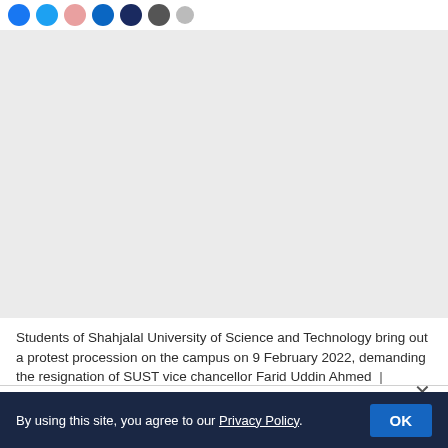[Figure (other): Social media share buttons row: blue Facebook, blue Twitter, pink Pinterest, blue LinkedIn, dark blue button, dark grey button, and one more partially visible button]
[Figure (photo): Large grey placeholder area representing an image of students at Shahjalal University of Science and Technology bringing out a protest procession]
Students of Shahjalal University of Science and Technology bring out a protest procession on the campus on 9 February 2022, demanding the resignation of SUST vice chancellor Farid Uddin Ahmed | Prothom Alo
By using this site, you agree to our Privacy Policy.